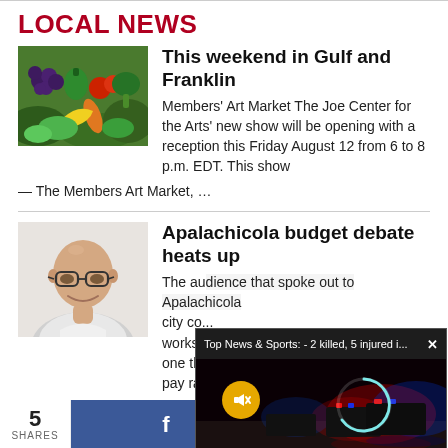LOCAL NEWS
[Figure (photo): Colorful display of fresh vegetables and produce at a market]
This weekend in Gulf and Franklin
Members' Art Market The Joe Center for the Arts' new show will be opening with a reception this Friday August 12 from 6 to 8 p.m. EDT. This show — The Members Art Market, …
[Figure (photo): Headshot of a bald man with glasses, smiling, wearing a white polo shirt]
Apalachicola budget debate heats up
The audience that spoke out to Apalachicola city co... workshop... one thi... pay rai...
[Figure (screenshot): Video popup overlay: 'Top News & Sports: - 2 killed, 5 injured i...' with close button, muted video of police lights at night scene, mute icon and loading spinner]
5 SHARES